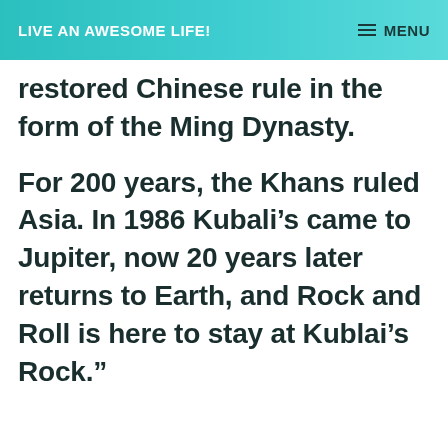LIVE AN AWESOME LIFE!
restored Chinese rule in the form of the Ming Dynasty.
For 200 years, the Khans ruled Asia. In 1986 Kubali’s came to Jupiter, now 20 years later returns to Earth, and Rock and Roll is here to stay at Kublai’s Rock.”